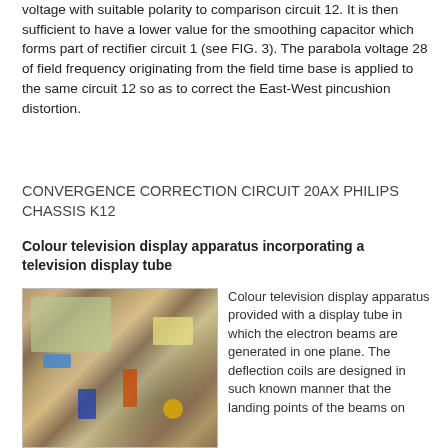voltage with suitable polarity to comparison circuit 12. It is then sufficient to have a lower value for the smoothing capacitor which forms part of rectifier circuit 1 (see FIG. 3). The parabola voltage 28 of field frequency originating from the field time base is applied to the same circuit 12 so as to correct the East-West pincushion distortion.
CONVERGENCE CORRECTION CIRCUIT 20AX PHILIPS CHASSIS K12
Colour television display apparatus incorporating a television display tube
[Figure (photo): Photograph of a printed circuit board from the Philips 20AX chassis K12 television, showing various electronic components including capacitors, transformers, and circuit board traces.]
Colour television display apparatus provided with a display tube in which the electron beams are generated in one plane. The deflection coils are designed in such known manner that the landing points of the beams on